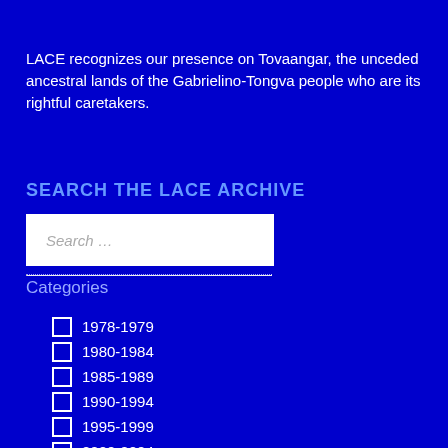LACE recognizes our presence on Tovaangar, the unceded ancestral lands of the Gabrielino-Tongva people who are its rightful caretakers.
SEARCH THE LACE ARCHIVE
Search ...
Categories
1978-1979
1980-1984
1985-1989
1990-1994
1995-1999
2000-2004
2005-2009